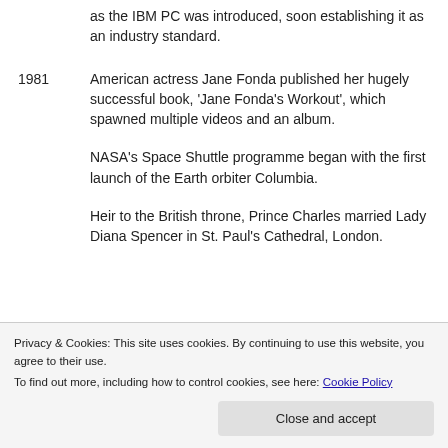as the IBM PC was introduced, soon establishing it as an industry standard.
1981 — American actress Jane Fonda published her hugely successful book, 'Jane Fonda's Workout', which spawned multiple videos and an album.
NASA's Space Shuttle programme began with the first launch of the Earth orbiter Columbia.
Heir to the British throne, Prince Charles married Lady Diana Spencer in St. Paul's Cathedral, London.
Privacy & Cookies: This site uses cookies. By continuing to use this website, you agree to their use. To find out more, including how to control cookies, see here: Cookie Policy
Close and accept